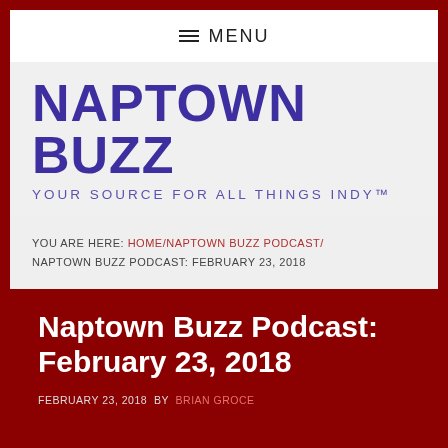≡ MENU
NAPTOWN BUZZ
YOUR SOURCE FOR ALL THINGS INDY™
YOU ARE HERE: HOME / NAPTOWN BUZZ PODCAST / NAPTOWN BUZZ PODCAST: FEBRUARY 23, 2018
Naptown Buzz Podcast: February 23, 2018
FEBRUARY 23, 2018 BY BRIAN GROCE